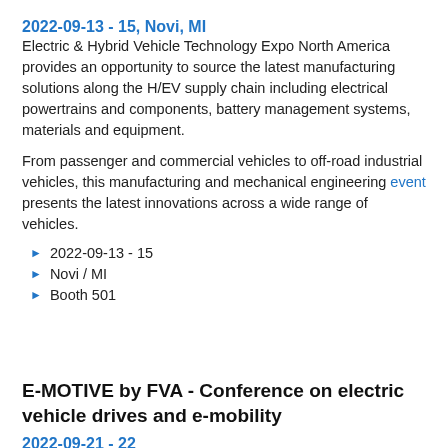2022-09-13 - 15, Novi, MI
Electric & Hybrid Vehicle Technology Expo North America provides an opportunity to source the latest manufacturing solutions along the H/EV supply chain including electrical powertrains and components, battery management systems, materials and equipment.
From passenger and commercial vehicles to off-road industrial vehicles, this manufacturing and mechanical engineering event presents the latest innovations across a wide range of vehicles.
2022-09-13 - 15
Novi / MI
Booth 501
E-MOTIVE by FVA - Conference on electric vehicle drives and e-mobility
2022-09-21 - 22